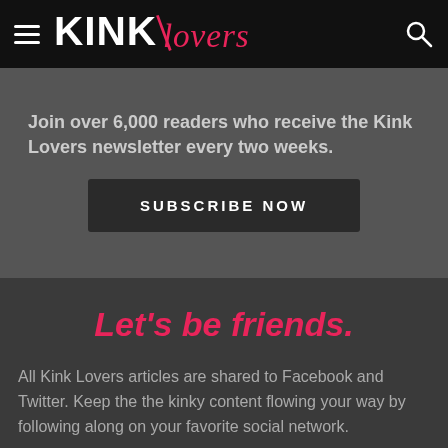KINK Lovers
Join over 6,000 readers who receive the Kink Lovers newsletter every two weeks.
SUBSCRIBE NOW
Let's be friends.
All Kink Lovers articles are shared to Facebook and Twitter. Keep the the kinky content flowing your way by following along on your favorite social network.